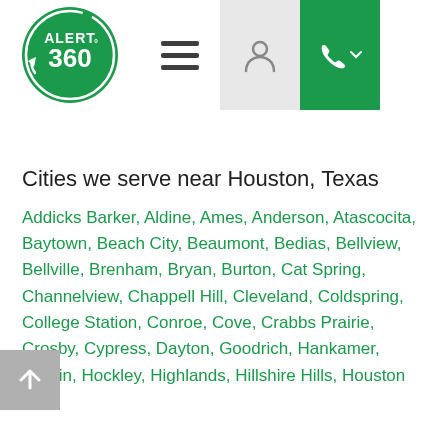[Figure (logo): Alert 360 logo: circular green badge with white text ALERT 360 and a circular arrow]
[Figure (other): Navigation bar with hamburger menu icon, person/account icon on grey background, and phone icon with dropdown arrow on green background]
Cities we serve near Houston, Texas
Addicks Barker, Aldine, Ames, Anderson, Atascocita, Baytown, Beach City, Beaumont, Bedias, Bellview, Bellville, Brenham, Bryan, Burton, Cat Spring, Channelview, Chappell Hill, Cleveland, Coldspring, College Station, Conroe, Cove, Crabbs Prairie, Crosby, Cypress, Dayton, Goodrich, Hankamer, Hardin, Hockley, Highlands, Hillshire Hills, Houston...